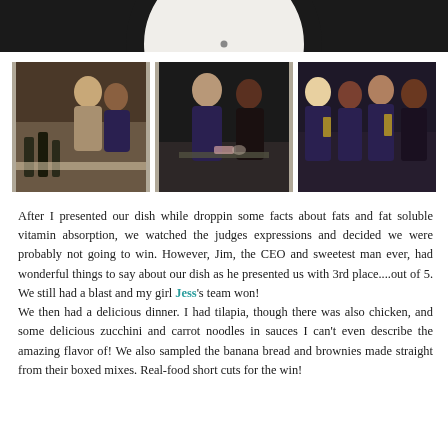[Figure (photo): Top portion of a vinyl record on dark background — white/cream circle visible at top against black background]
[Figure (photo): Three photos side by side of women in navy aprons at a cooking competition event. Left photo: two women working at a counter with olive oil bottles. Middle photo: two women in dark setting working at a table. Right photo: four women posing together holding trophies/awards.]
After I presented our dish while droppin some facts about fats and fat soluble vitamin absorption, we watched the judges expressions and decided we were probably not going to win. However, Jim, the CEO and sweetest man ever, had wonderful things to say about our dish as he presented us with 3rd place....out of 5. We still had a blast and my girl Jess's team won!
We then had a delicious dinner. I had tilapia, though there was also chicken, and some delicious zucchini and carrot noodles in sauces I can't even describe the amazing flavor of! We also sampled the banana bread and brownies made straight from their boxed mixes. Real-food short cuts for the win!